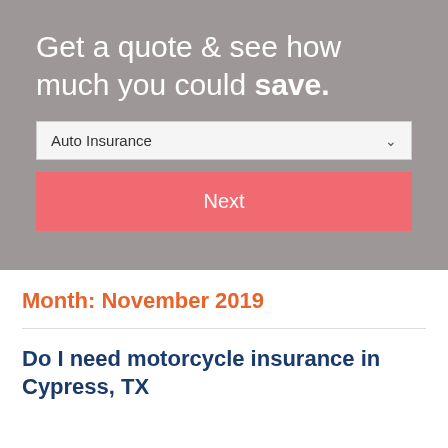[Figure (screenshot): Insurance quote widget with gray background. Contains headline text 'Get a quote & see how much you could save.', a dropdown selector showing 'Auto Insurance', and a red 'Next' button.]
Month: November 2019
Do I need motorcycle insurance in Cypress, TX